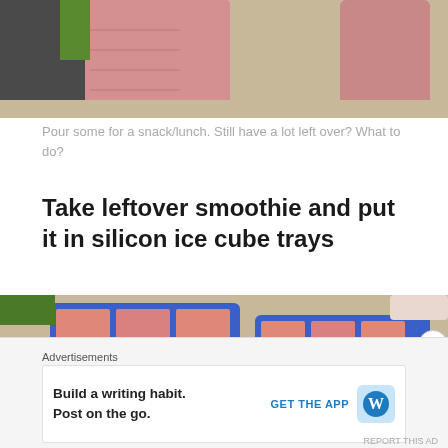[Figure (photo): Photo of pink smoothie in a blender jar and a cup on a kitchen counter]
Pour some for a snack/lunch. Still have a lot left over? What to do?
Take leftover smoothie and put it in silicon ice cube trays
[Figure (photo): Photo of two blue silicon ice cube trays filled with pink smoothie mixture]
Advertisements
Build a writing habit. Post on the go. GET THE APP [WordPress logo]